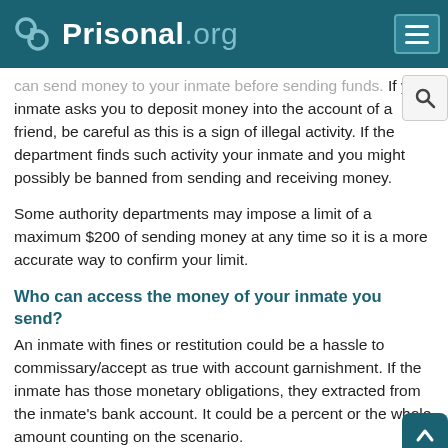Prisonal.org
can send money to your inmate before sending funds. If your inmate asks you to deposit money into the account of a friend, be careful as this is a sign of illegal activity. If the department finds such activity your inmate and you might possibly be banned from sending and receiving money.
Some authority departments may impose a limit of a maximum $200 of sending money at any time so it is a more accurate way to confirm your limit.
Who can access the money of your inmate you send?
An inmate with fines or restitution could be a hassle to commissary/accept as true with account garnishment. If the inmate has those monetary obligations, they extracted from the inmate’s bank account. It could be a percent or the whole amount counting on the scenario.